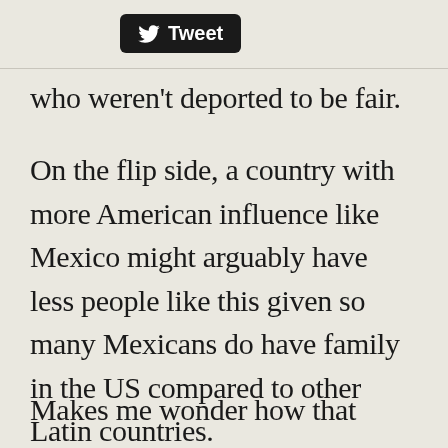[Figure (screenshot): Twitter Tweet button with bird logo on black rounded rectangle background]
who weren't deported to be fair.
On the flip side, a country with more American influence like Mexico might arguably have less people like this given so many Mexicans do have family in the US compared to other Latin countries.
Makes me wonder how that influence...of this...